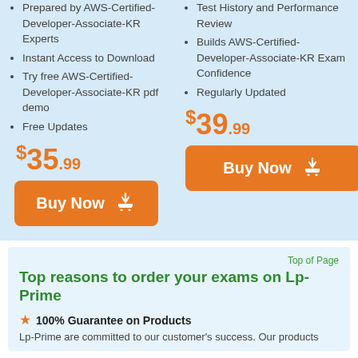Prepared by AWS-Certified-Developer-Associate-KR Experts
Instant Access to Download
Try free AWS-Certified-Developer-Associate-KR pdf demo
Free Updates
Test History and Performance Review
Builds AWS-Certified-Developer-Associate-KR Exam Confidence
Regularly Updated
$35.99
Buy Now
$39.99
Buy Now
Top of Page
Top reasons to order your exams on Lp-Prime
100% Guarantee on Products
Lp-Prime are committed to our customer's success. Our products